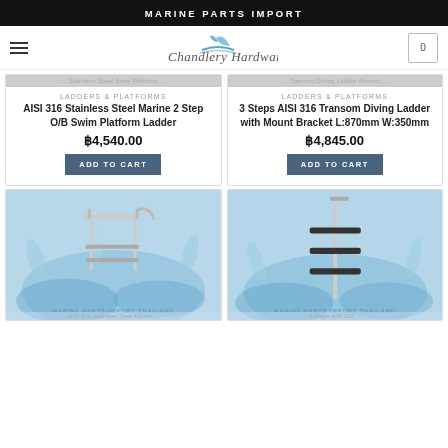MARINE PARTS IMPORT
[Figure (logo): Chandlery Hardware logo with sailing boat icon and stylized script text]
LADDERS & PLATFORMS
AISI 316 Stainless Steel Marine 2 Step O/B Swim Platform Ladder
฿4,540.00
ADD TO CART
LADDERS & PLATFORMS
3 Steps AISI 316 Transom Diving Ladder with Mount Bracket L:870mm W:350mm
฿4,845.00
ADD TO CART
[Figure (photo): Marine stainless steel swim platform ladder with water splash background, watermark MARINE PARTS IMPORT THAILAND]
[Figure (photo): 3-step transom diving ladder with mount bracket, water splash background, watermark MARINE PARTS IMPORT THAILAND]